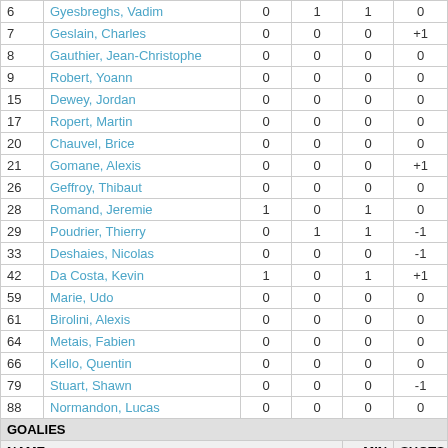| # | NAME | G | A | PTS | +/- |
| --- | --- | --- | --- | --- | --- |
| 6 | Gyesbreghs, Vadim | 0 | 1 | 1 | 0 |
| 7 | Geslain, Charles | 0 | 0 | 0 | +1 |
| 8 | Gauthier, Jean-Christophe | 0 | 0 | 0 | 0 |
| 9 | Robert, Yoann | 0 | 0 | 0 | 0 |
| 15 | Dewey, Jordan | 0 | 0 | 0 | 0 |
| 17 | Ropert, Martin | 0 | 0 | 0 | 0 |
| 20 | Chauvel, Brice | 0 | 0 | 0 | 0 |
| 21 | Gomane, Alexis | 0 | 0 | 0 | +1 |
| 26 | Geffroy, Thibaut | 0 | 0 | 0 | 0 |
| 28 | Romand, Jeremie | 1 | 0 | 1 | 0 |
| 29 | Poudrier, Thierry | 0 | 1 | 1 | -1 |
| 33 | Deshaies, Nicolas | 0 | 0 | 0 | -1 |
| 42 | Da Costa, Kevin | 1 | 0 | 1 | +1 |
| 59 | Marie, Udo | 0 | 0 | 0 | 0 |
| 61 | Birolini, Alexis | 0 | 0 | 0 | 0 |
| 64 | Metais, Fabien | 0 | 0 | 0 | 0 |
| 66 | Kello, Quentin | 0 | 0 | 0 | 0 |
| 79 | Stuart, Shawn | 0 | 0 | 0 | -1 |
| 88 | Normandon, Lucas | 0 | 0 | 0 | 0 |
GOALIES
| NAME | MIN | SHOTS |
| --- | --- | --- |
| 66 Quentin Kello | 70:00 | 53 |
| 88 Lucas Normandon (B) |  |  |